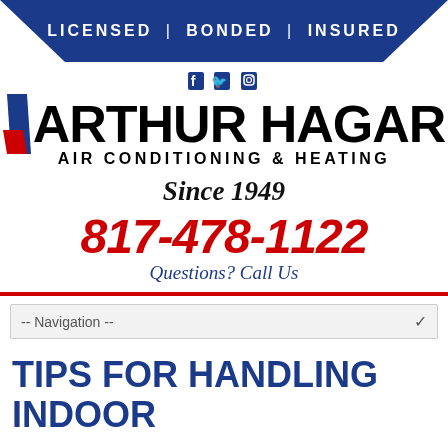LICENSED | BONDED | INSURED
[Figure (logo): Arthur Hagar Air Conditioning & Heating logo with diagonal blue and red stripes, social media icons (Facebook, Twitter, Instagram), and tagline Since 1949]
Since 1949
817-478-1122
Questions? Call Us
-- Navigation --
TIPS FOR HANDLING INDOOR